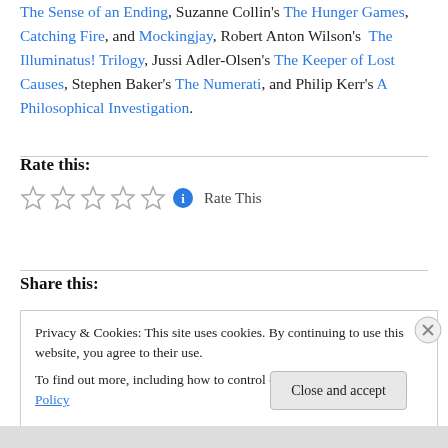The Sense of an Ending, Suzanne Collin's The Hunger Games, Catching Fire, and Mockingjay, Robert Anton Wilson's The Illuminatus! Trilogy, Jussi Adler-Olsen's The Keeper of Lost Causes, Stephen Baker's The Numerati, and Philip Kerr's A Philosophical Investigation.
Rate this:
☆ ☆ ☆ ☆ ☆ ℹ Rate This
Share this:
Privacy & Cookies: This site uses cookies. By continuing to use this website, you agree to their use. To find out more, including how to control cookies, see here: Cookie Policy
Close and accept